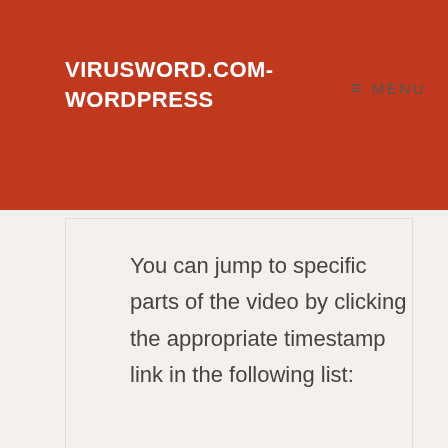VIRUSWORD.COM-WORDPRESS
You can jump to specific parts of the video by clicking the appropriate timestamp link in the following list:
02:03 Importing the demo content
05:01 Customizing the header and top bar
18:12 Customizing the main menu
21:19 Customizing the header…